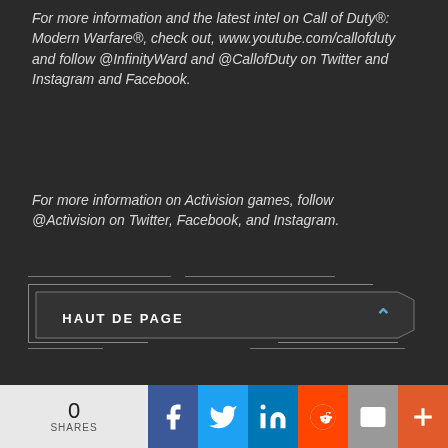For more information and the latest intel on Call of Duty®: Modern Warfare®, check out, www.youtube.com/callofduty and follow @InfinityWard and @CallofDuty on Twitter and Instagram and Facebook.
For more information on Activision games, follow @Activision on Twitter, Facebook, and Instagram.
[Figure (other): HAUT DE PAGE button — a styled dark rectangular button with white uppercase text 'HAUT DE PAGE' and a blue chevron/caret icon on the right, with decorative white border lines around the button]
0
SHARES
[Figure (infographic): Social sharing bar with Facebook (blue), Twitter (light blue), LinkedIn (dark blue), Reddit (orange-red), Email (gray), and More (+) (orange-red) buttons, each showing white icon]